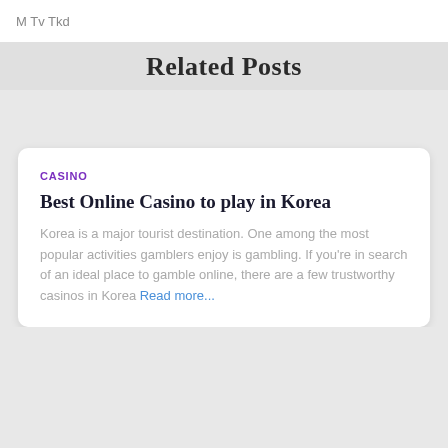M Tv Tkd
Related Posts
CASINO
Best Online Casino to play in Korea
Korea is a major tourist destination. One among the most popular activities gamblers enjoy is gambling. If you're in search of an ideal place to gamble online, there are a few trustworthy casinos in Korea Read more...